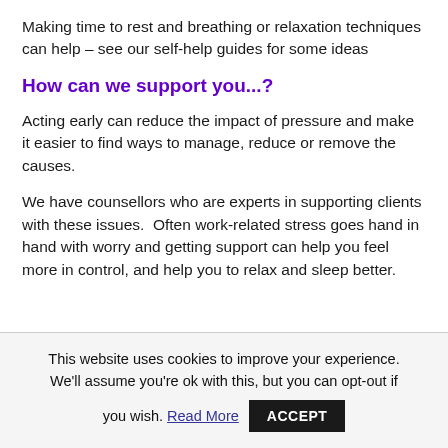Making time to rest and breathing or relaxation techniques can help – see our self-help guides for some ideas
How can we support you...?
Acting early can reduce the impact of pressure and make it easier to find ways to manage, reduce or remove the causes.
We have counsellors who are experts in supporting clients with these issues.  Often work-related stress goes hand in hand with worry and getting support can help you feel more in control, and help you to relax and sleep better.
This website uses cookies to improve your experience. We'll assume you're ok with this, but you can opt-out if you wish. Read More ACCEPT